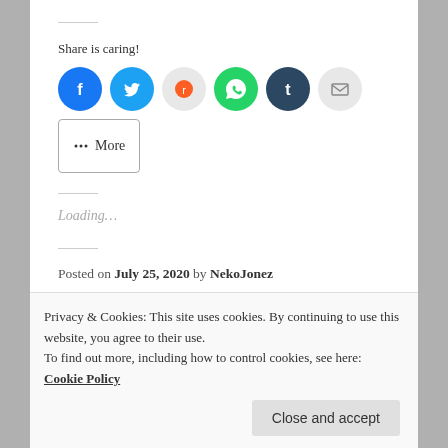Share is caring!
[Figure (infographic): Row of social share icon circles: Facebook (blue), Twitter (blue), Reddit (light gray), WhatsApp (green), Tumblr (dark navy), Email (light gray), and a More button with share icon]
Loading...
Posted on July 25, 2020 by NekoJonez
Posted in First Impression
Tagged 001, about, achievements, adventure, advice, Ages,
Privacy & Cookies: This site uses cookies. By continuing to use this website, you agree to their use.
To find out more, including how to control cookies, see here: Cookie Policy
Close and accept